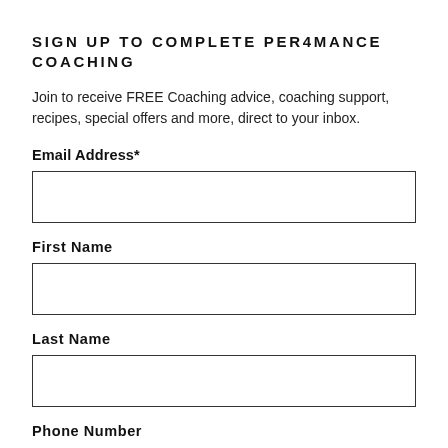SIGN UP TO COMPLETE PER4MANCE COACHING
Join to receive FREE Coaching advice, coaching support, recipes, special offers and more, direct to your inbox.
Email Address*
First Name
Last Name
Phone Number